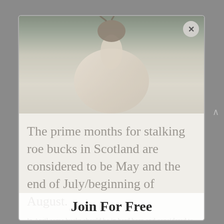[Figure (photo): A deer (roe buck) photographed in misty/foggy conditions, showing a pale-bodied deer with antlers visible at the top, standing in a hazy outdoor environment. The image has a faded, washed-out appearance.]
The prime months for stalking roe bucks in Scotland are considered to be May and the end of July/beginning of August.
In April some bucks should be in hard horn and considered to be 'shootable' with
Join For Free